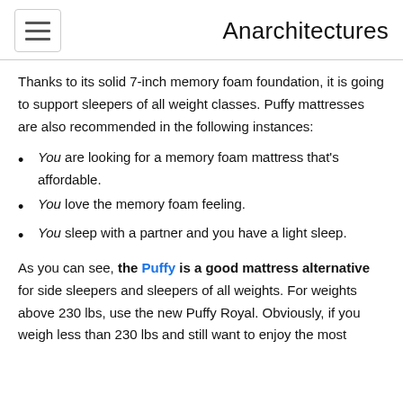Anarchitectures
Thanks to its solid 7-inch memory foam foundation, it is going to support sleepers of all weight classes. Puffy mattresses are also recommended in the following instances:
You are looking for a memory foam mattress that's affordable.
You love the memory foam feeling.
You sleep with a partner and you have a light sleep.
As you can see, the Puffy is a good mattress alternative for side sleepers and sleepers of all weights. For weights above 230 lbs, use the new Puffy Royal. Obviously, if you weigh less than 230 lbs and still want to enjoy the most